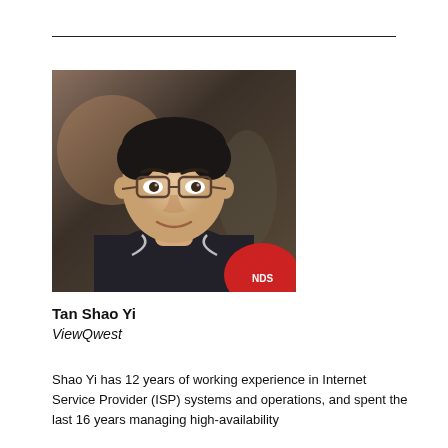[Figure (photo): Portrait photo of Tan Shao Yi, a man with glasses wearing a dark polo shirt, seated indoors with a warm background.]
Tan Shao Yi
ViewQwest
Shao Yi has 12 years of working experience in Internet Service Provider (ISP) systems and operations, and spent the last 16 years managing high-availability